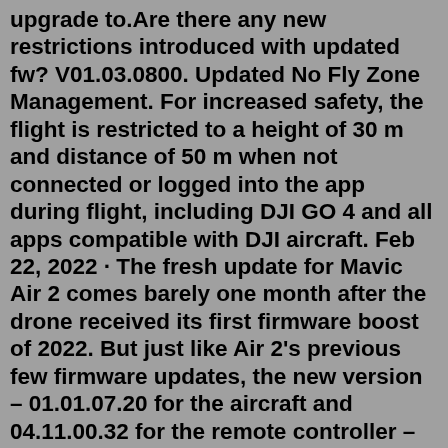upgrade to.Are there any new restrictions introduced with updated fw? V01.03.0800. Updated No Fly Zone Management. For increased safety, the flight is restricted to a height of 30 m and distance of 50 m when not connected or logged into the app during flight, including DJI GO 4 and all apps compatible with DJI aircraft. Feb 22, 2022 · The fresh update for Mavic Air 2 comes barely one month after the drone received its first firmware boost of 2022. But just like Air 2's previous few firmware updates, the new version – 01.01.07.20 for the aircraft and 04.11.00.32 for the remote controller – doesn't add any new features to the drone. According to DJI's release notes ... Mavic Pro Firmware Update Failed [Troubleshooting] Firmware update failed 0 - This One Is Bill shares with us the exciting news that the DJI Smart Controller now features the Phantom 4 Pro V2 This patch is a manual update, and the details of the zero-day exploit are unclear at A firmware update is recommended whenever the latest firmware ... May 20, 2020 · 1#. Has anybody has a issue update